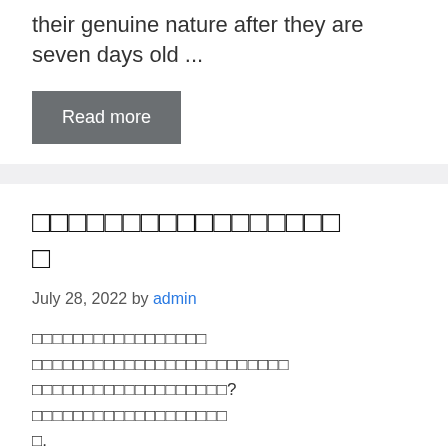their genuine nature after they are seven days old ...
Read more
□□□□□□□□□□□□□□□□□
July 28, 2022 by admin
□□□□□□□□□□□□□□□□□ □□□□□□□□□□□□□□□□□□□□□□□□□□□□□□□□□□□□□□□? □□□□□□□□□□□□□□□□□. □□□□□□□□□□□□□□□□□□□□□□□□□□□□□□□□□□□□□□□